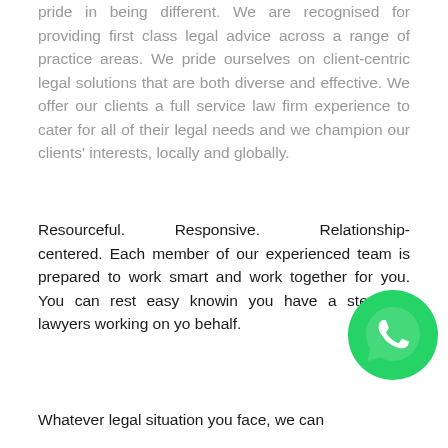pride in being different. We are recognised for providing first class legal advice across a range of practice areas. We pride ourselves on client-centric legal solutions that are both diverse and effective. We offer our clients a full service law firm experience to cater for all of their legal needs and we champion our clients' interests, locally and globally.
Resourceful. Responsive. Relationship-centered. Each member of our experienced team is prepared to work smart and work together for you. You can rest easy knowing you have a steadfast lawyers working on your behalf.
[Figure (logo): WhatsApp logo — green circle with white phone handset icon]
Whatever legal situation you face, we can